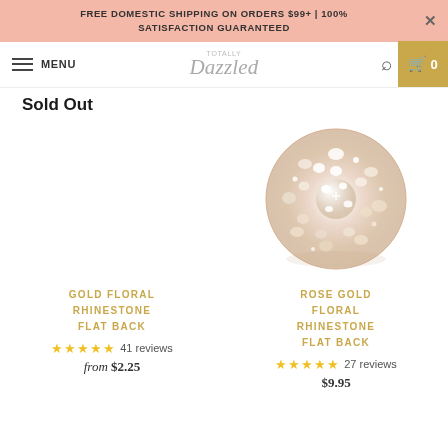FREE DOMESTIC SHIPPING ON ORDERS $99+ | 100% SATISFACTION GUARANTEED
MENU | Totally Dazzled | Search | Cart 0
Sold Out
[Figure (photo): Rose gold floral rhinestone flat back product photo — a circular cluster of sparkling crystal rhinestones in a rose gold / champagne tone]
GOLD FLORAL RHINESTONE FLAT BACK
41 reviews
from $2.25
ROSE GOLD FLORAL RHINESTONE FLAT BACK
27 reviews
$9.95